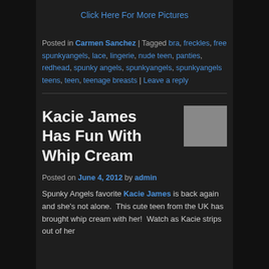Click Here For More Pictures
Posted in Carmen Sanchez | Tagged bra, freckles, free spunkyangels, lace, lingerie, nude teen, panties, redhead, spunky angels, spunkyangels, spunkyangels teens, teen, teenage breasts | Leave a reply
Kacie James Has Fun With Whip Cream
Posted on June 4, 2012 by admin
Spunky Angels favorite Kacie James is back again and she's not alone.  This cute teen from the UK has brought whip cream with her!  Watch as Kacie strips out of her